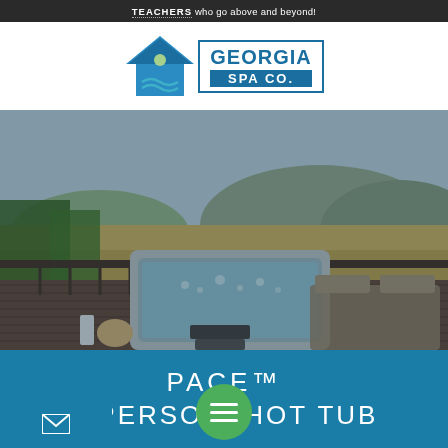TEACHERS who go above and beyond!
[Figure (logo): Georgia Spa Co. logo with house icon and bold text]
[Figure (photo): Outdoor hot tub on a wooden deck with mountain/hill scenery in background and patio furniture]
PACE™
5 PERSON HOT TUB
[Figure (other): Green circular menu/hamburger button overlay]